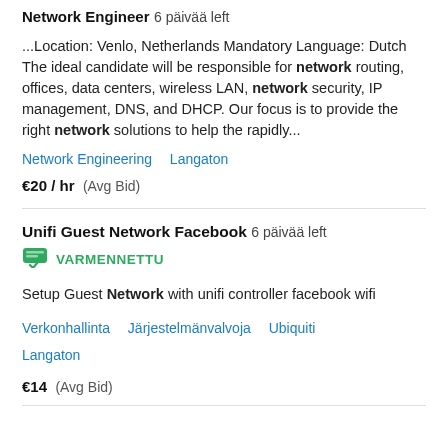Network Engineer  6 päivää left
...Location: Venlo, Netherlands Mandatory Language: Dutch The ideal candidate will be responsible for network routing, offices, data centers, wireless LAN, network security, IP management, DNS, and DHCP. Our focus is to provide the right network solutions to help the rapidly...
Network Engineering   Langaton
€20 / hr  (Avg Bid)
Unifi Guest Network Facebook  6 päivää left
VARMENNETTU
Setup Guest Network with unifi controller facebook wifi
Verkonhallinta   Järjestelmänvalvoja   Ubiquiti   Langaton
€14  (Avg Bid)